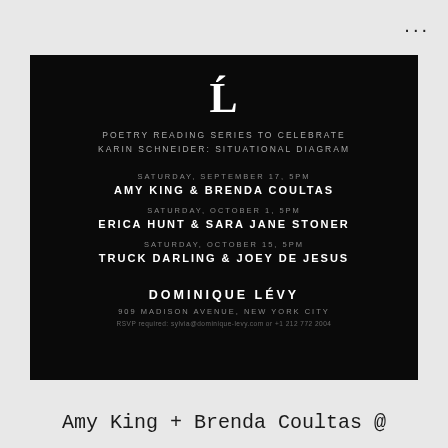[Figure (illustration): Event invitation card on black background for Dominique Lévy gallery poetry reading series]
Ĺ
POETRY READING SERIES TO CELEBRATE
KARIN SCHNEIDER: SITUATIONAL DIAGRAM
SATURDAY, SEPTEMBER 17, 5PM
AMY KING & BRENDA COULTAS
SATURDAY, OCTOBER 1, 5PM
ERICA HUNT & SARA JANE STONER
SATURDAY, OCTOBER 15, 5PM
TRUCK DARLING & JOEY DE JESUS
DOMINIQUE LÉVY
909 MADISON AVENUE, NEW YORK CITY
RSVP required: sylvia@dominique-levy.com or +1 212 772 2004
Amy King + Brenda Coultas @